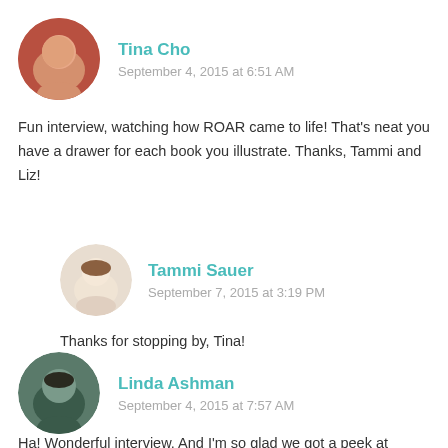[Figure (photo): Circular avatar photo of Tina Cho, a smiling Asian woman outdoors]
Tina Cho
September 4, 2015 at 6:51 AM
Fun interview, watching how ROAR came to life! That's neat you have a drawer for each book you illustrate. Thanks, Tammi and Liz!
[Figure (photo): Circular avatar photo of Tammi Sauer, a woman with dark hair]
Tammi Sauer
September 7, 2015 at 3:19 PM
Thanks for stopping by, Tina!
[Figure (photo): Circular avatar photo of Linda Ashman, a woman with dark hair outdoors]
Linda Ashman
September 4, 2015 at 7:57 AM
Ha! Wonderful interview. And I'm so glad we got a peek at